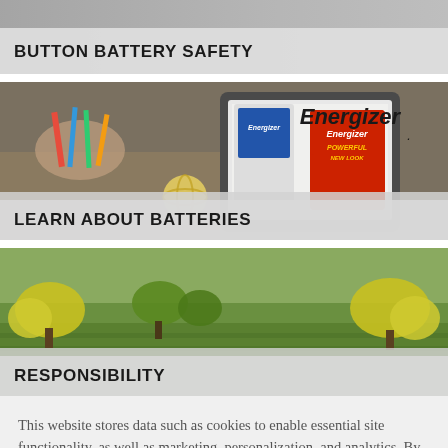[Figure (photo): Button Battery Safety card with gray background]
BUTTON BATTERY SAFETY
[Figure (photo): Desk scene with pencils, rubber band ball, and Energizer battery packaging showing 'Powerful New Look']
LEARN ABOUT BATTERIES
[Figure (photo): Green field landscape with yellow flowering trees]
RESPONSIBILITY
This website stores data such as cookies to enable essential site functionality, as well as marketing, personalization, and analytics. By remaining on this website you indicate your consent. Cookie Policy